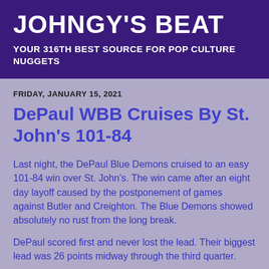JOHNGY'S BEAT
YOUR 316TH BEST SOURCE FOR POP CULTURE NUGGETS
FRIDAY, JANUARY 15, 2021
DePaul WBB Cruises By St. John's 101-84
Last night, the DePaul Blue Demons cruised to an easy 101-84 win over St. John's. The win came after an eight day layoff caused by the postponement of games against Butler and Creighton. The Blue Demons showed absolutely no rust from the long break.
DePaul scored first and never lost the lead. Their biggest lead was 26 points midway through the third quarter.